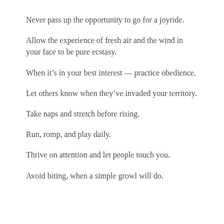Never pass up the opportunity to go for a joyride.
Allow the experience of fresh air and the wind in your face to be pure ecstasy.
When it’s in your best interest — practice obedience.
Let others know when they’ve invaded your territory.
Take naps and stretch before rising.
Run, romp, and play daily.
Thrive on attention and let people touch you.
Avoid biting, when a simple growl will do.